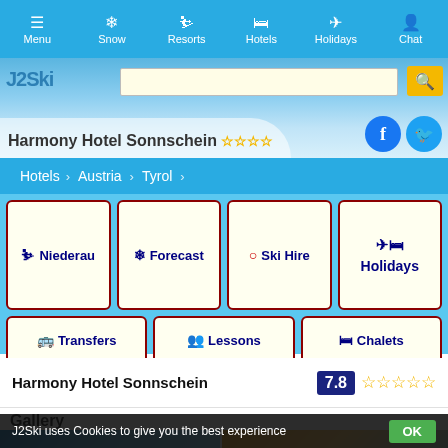Menu  Snow  Resorts  Hotels  Holidays  Chat
[Figure (screenshot): Website banner with snowy mountain background, J2Ski logo, search bar, search button, Facebook and Twitter social icons, and hotel name 'Harmony Hotel Sonnschein' with 4 gold stars]
Hotels > Austria > Tyrol
Niederau  Forecast  Ski Hire  Holidays  Transfers  Lessons  Chalets
Harmony Hotel Sonnschein  7.8  ☆☆☆☆☆
Gallery
[Figure (photo): Two gallery preview images of the hotel]
J2Ski uses Cookies to give you the best experience  OK